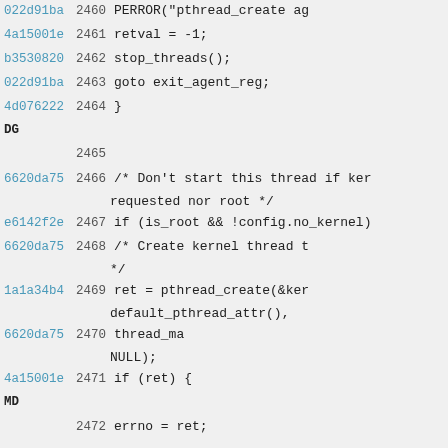022d91ba 2460   PERROR("pthread_create ag
4a15001e 2461       retval = -1;
b3530820 2462       stop_threads();
022d91ba 2463       goto exit_agent_reg;
4d076222 2464   }
DG
         2465
6620da75 2466       /* Don't start this thread if ker
              requested nor root */
e6142f2e 2467       if (is_root && !config.no_kernel)
6620da75 2468           /* Create kernel thread t
           */
1a1a34b4 2469               ret = pthread_create(&ker
    default_pthread_attr(),
6620da75 2470                           thread_ma
    NULL);
4a15001e 2471           if (ret) {
MD
         2472               errno = ret;